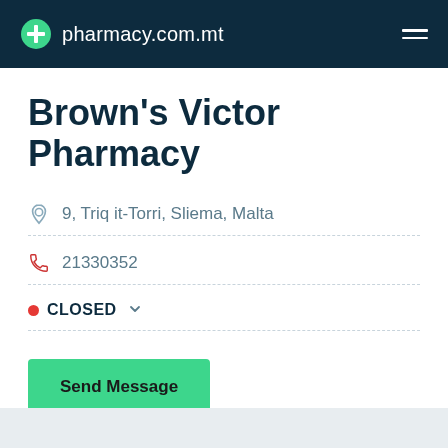pharmacy.com.mt
Brown's Victor Pharmacy
9, Triq it-Torri, Sliema, Malta
21330352
CLOSED
Send Message